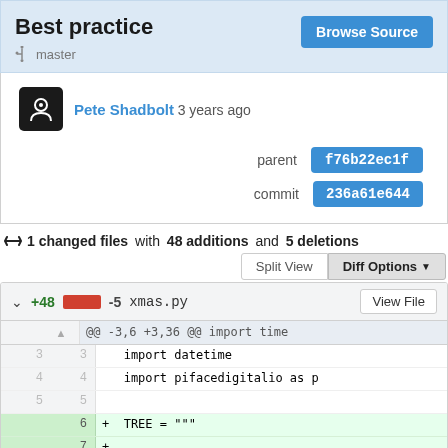Best practice
master
Pete Shadbolt 3 years ago
parent f76b22ec1f
commit 236a61e644
↻ 1 changed files with 48 additions and 5 deletions
[Figure (screenshot): Git diff view showing xmas.py with +48 additions and -5 deletions, showing code lines 3-7 including import datetime, import pifacedigitalio as p, blank line, and TREE = """ addition]
@@ -3,6 +3,36 @@ import time
3   import datetime
4   import pifacedigitalio as p
5   
6 + TREE = """
7 +